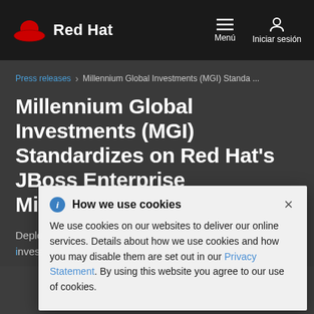[Figure (logo): Red Hat logo with red hat icon and white 'Red Hat' text on dark background nav bar]
Menú  Iniciar sesión
Press releases > Millennium Global Investments (MGI) Standa ...
Millennium Global Investments (MGI) Standardizes on Red Hat's JBoss Enterprise Middleware
Deploying JBoss Enterprise BRMS improves scalability for investment company
How we use cookies
We use cookies on our websites to deliver our online services. Details about how we use cookies and how you may disable them are set out in our Privacy Statement. By using this website you agree to our use of cookies.